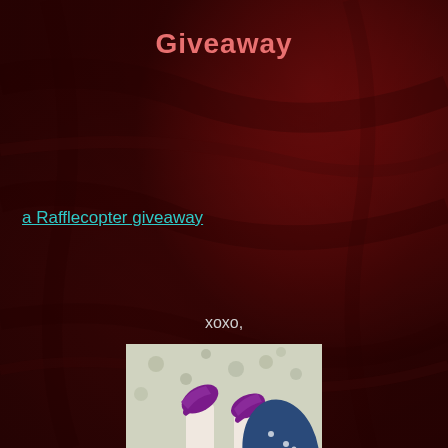Giveaway
a Rafflecopter giveaway
xoxo,
[Figure (photo): Book cover image for 'Glass' showing legs in purple high heels with blue polka dot fabric against a floral wallpaper background, with 'Glass' written in dark red script font]
Glass at 1:30 AM
Share